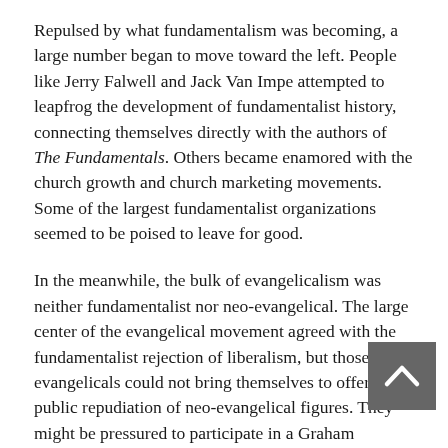Repulsed by what fundamentalism was becoming, a large number began to move toward the left. People like Jerry Falwell and Jack Van Impe attempted to leapfrog the development of fundamentalist history, connecting themselves directly with the authors of The Fundamentals. Others became enamored with the church growth and church marketing movements. Some of the largest fundamentalist organizations seemed to be poised to leave for good.
In the meanwhile, the bulk of evangelicalism was neither fundamentalist nor neo-evangelical. The large center of the evangelical movement agreed with the fundamentalist rejection of liberalism, but those evangelicals could not bring themselves to offer a public repudiation of neo-evangelical figures. They might be pressured to participate in a Graham crusade, but they never approved of his cooperative evangelism.
In The Young Evangelicals, Richard Quebedeaux referred to